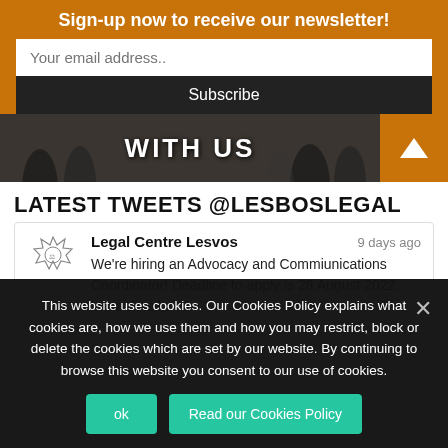Sign-up now to receive our newsletter!
Your email address..
Subscribe
[Figure (photo): Banner image with text 'WITH US' overlaid on a dark group photo, with an orange arrow button on the right]
LATEST TWEETS @LESBOSLEGAL
Legal Centre Lesvos   9 days ago
We're hiring an Advocacy and Commiunications Coordinator! Deadline to apply is 28 August 2022. More detail...
This website uses cookies. Our Cookies Policy explains what cookies are, how we use them and how you may restrict, block or delete the cookies which are set by our website. By continuing to browse this website you consent to our use of cookies.
ok
Read our Cookies Policy